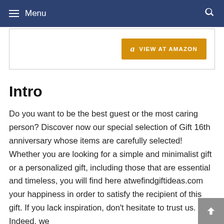Menu
[Figure (screenshot): View at Amazon button with Amazon logo on orange/gold background inside a product card border]
Intro
Do you want to be the best guest or the most caring person? Discover now our special selection of Gift 16th anniversary whose items are carefully selected! Whether you are looking for a simple and minimalist gift or a personalized gift, including those that are essential and timeless, you will find here atwefindgiftideas.com your happiness in order to satisfy the recipient of this gift. If you lack inspiration, don't hesitate to trust us. Indeed, we